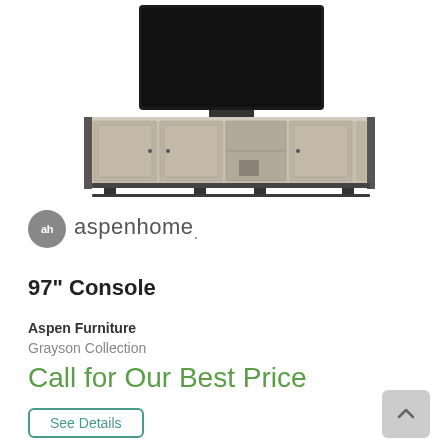[Figure (photo): A large gray wood and dark metal TV console (entertainment center) with a flat-screen TV on top, featuring multiple cabinet doors and open shelving in the center.]
[Figure (logo): Aspenhome logo — a gray circle with 'ah' text followed by 'aspenhome.' in gray sans-serif lettering]
97" Console
Aspen Furniture
Grayson Collection
Call for Our Best Price
See Details